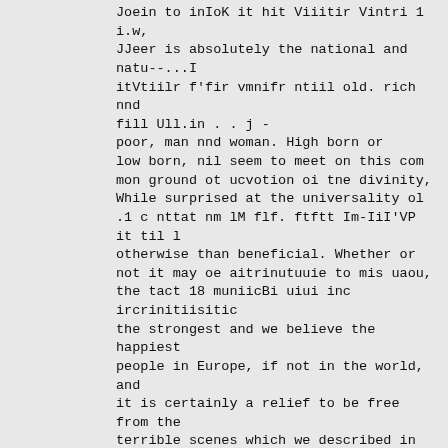Joein to inIoK it hit Viiitir Vintri 1 i.w, JJeer is absolutely the national and natu--...I itVtiilr f'fir vmnifr ntiil old. rich nnd fill Ull.in . . j -
poor, man nnd woman. High born or low born, nil seem to meet on this com mon ground ot ucvotion oi tne divinity, While surprised at the universality ol .1 c nttat nm lM flf. ftftt Im-IiI'VP it til l otherwise than beneficial. Whether or not it may oe aitrinutuuie to mis uaou, the tact 18 muniicBi uiui inc ircrinitiisitic the strongest and we believe the happiest people in Europe, if not in the world, and it is certainly a relief to be free from the terrible scenes which we described in our letter from London us lieing openly, slan derously enacted upon the streets of that city. Good-bye. T. W. P.
A Diabolical Act.
Home, August 20. Last evening u spherical bomb, ten centimetres in diame ter, wns thrown from the rear of the Chamler of Deputies into the l'laza Colonon during the progress of a con